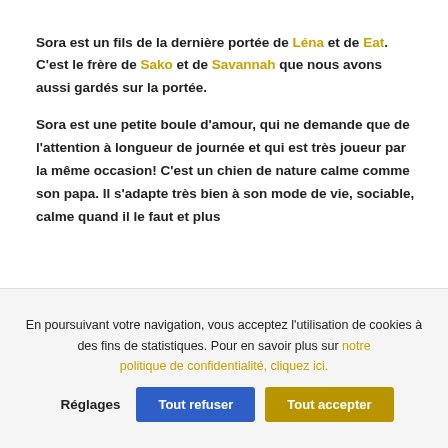Sora est un fils de la dernière portée de Léna et de Eat. C'est le frère de Sako et de Savannah que nous avons aussi gardés sur la portée.

Sora est une petite boule d'amour, qui ne demande que de l'attention à longueur de journée et qui est très joueur par la même occasion! C'est un chien de nature calme comme son papa. Il s'adapte très bien à son mode de vie, sociable, calme quand il le faut et plus…
En poursuivant votre navigation, vous acceptez l'utilisation de cookies à des fins de statistiques. Pour en savoir plus sur notre politique de confidentialité, cliquez ici.